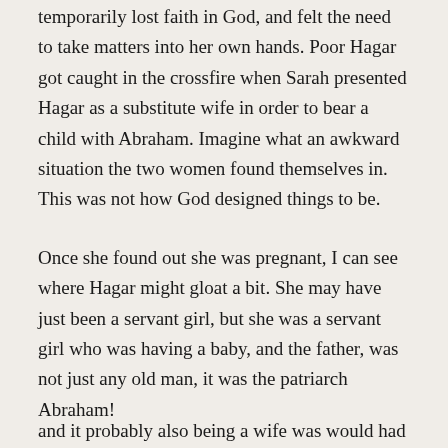temporarily lost faith in God, and felt the need to take matters into her own hands. Poor Hagar got caught in the crossfire when Sarah presented Hagar as a substitute wife in order to bear a child with Abraham. Imagine what an awkward situation the two women found themselves in. This was not how God designed things to be.
Once she found out she was pregnant, I can see where Hagar might gloat a bit. She may have just been a servant girl, but she was a servant girl who was having a baby, and the father, was not just any old man, it was the patriarch Abraham!
and it probably also being a wife was would had to be